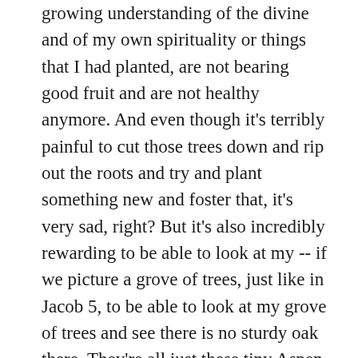growing understanding of the divine and of my own spirituality or things that I had planted, are not bearing good fruit and are not healthy anymore. And even though it's terribly painful to cut those trees down and rip out the roots and try and plant something new and foster that, it's very sad, right? But it's also incredibly rewarding to be able to look at my -- if we picture a grove of trees, just like in Jacob 5, to be able to look at my grove of trees and see there is no sturdy oak there. They're all just these tiny Aspen saplings and just know that they're all mine. And even though they're little and they're still forming and developing, that they are things that are sacred and precious to me, and I'm excited to see where they take me. And so I wish I had a prettier answer, but the truth is that my faith is just really messy and often really chaotic. And I'm okay with that because I find God in the chaos. And I always find that God is able to reach me wherever I'm at, and continually offers me gifts that keep me going.